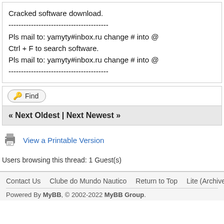Cracked software download.
----------------------------------------
Pls mail to: yamyty#inbox.ru change # into @
Ctrl + F to search software.
Pls mail to: yamyty#inbox.ru change # into @
----------------------------------------
Find
« Next Oldest | Next Newest »
[Figure (other): Printer icon next to 'View a Printable Version' link]
View a Printable Version
Users browsing this thread: 1 Guest(s)
Contact Us   Clube do Mundo Nautico   Return to Top   Lite (Archive) Mode   Ma...
Powered By MyBB, © 2002-2022 MyBB Group.